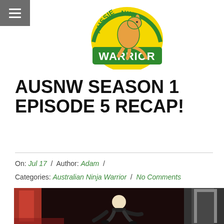[Figure (logo): Aussie Ninja Warrior logo — kangaroo mascot with yellow semicircle, green WARRIOR banner]
AUSNW SEASON 1 EPISODE 5 RECAP!
On: Jul 17  /  Author: Adam  /  Categories: Australian Ninja Warrior  /  No Comments